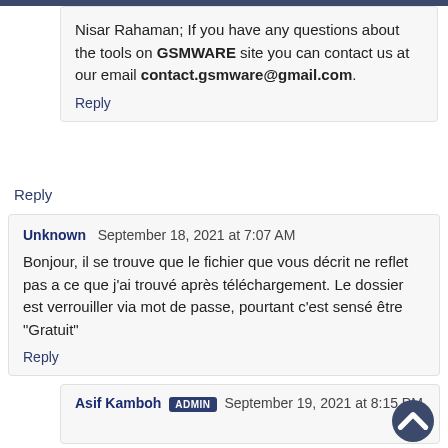Nisar Rahaman; If you have any questions about the tools on GSMWARE site you can contact us at our email contact.gsmware@gmail.com.
Reply
Reply
Unknown  September 18, 2021 at 7:07 AM
Bonjour, il se trouve que le fichier que vous décrit ne reflet pas a ce que j'ai trouvé après téléchargement. Le dossier est verrouiller via mot de passe, pourtant c'est sensé être "Gratuit"
Reply
Asif Kamboh  ADMIN  September 19, 2021 at 8:15 PM
Please comment in English only, then only I can help you.